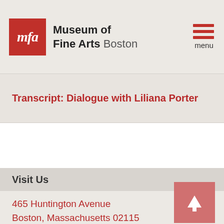Museum of Fine Arts Boston
Transcript: Dialogue with Liliana Porter
Visit Us
465 Huntington Avenue
Boston, Massachusetts 02115
617-267-9300
PLAN YOUR VISIT